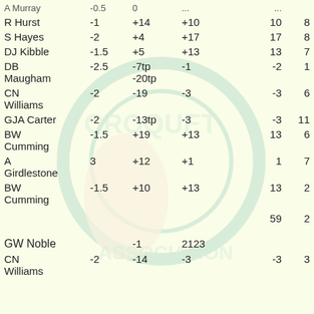| Name | Col1 | Col2 | Col3 |  | Col4 | Col5 |
| --- | --- | --- | --- | --- | --- | --- |
| R Hurst | -1 | +14 | +10 |  | 10 | 8 |
| S Hayes | -2 | +4 | +17 |  | 17 | 8 |
| DJ Kibble | -1.5 | +5 | +13 |  | 13 | 7 |
| DB Maugham | -2.5 | -7tp -20tp | -1 |  | -2 | 1 |
| CN Williams | -2 | -19 | -3 |  | -3 | 6 |
| GJA Carter | -2 | -13tp | -3 |  | -3 | 11 |
| BW Cumming | -1.5 | +19 | +13 |  | 13 | 6 |
| A Girdlestone | 3 | +12 | +1 |  | 1 | 7 |
| BW Cumming | -1.5 | +10 | +13 |  | 13 | 2 |
|  |  |  |  |  | 59 | 2 |
| GW Noble |  | -1 | 2123 |  |  |  |
| CN Williams | -2 | -14 | -3 |  | -3 | 3 |